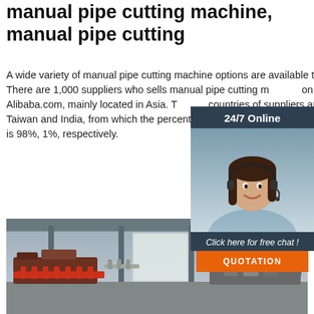manual pipe cutting machine, manual pipe cutting
A wide variety of manual pipe cutting machine options are available to you, There are 1,000 suppliers who sells manual pipe cutting machine on Alibaba.com, mainly located in Asia. The top countries of suppliers are China, Taiwan and India, from which the percentage of pipe cutting machine supply is 98%, 1%, respectively.
[Figure (infographic): Chat widget showing '24/7 Online' header, a customer service representative with headset, text 'Click here for free chat!' and an orange QUOTATION button]
[Figure (photo): Factory interior showing industrial pipe cutting machinery and equipment on a production floor]
Get Price